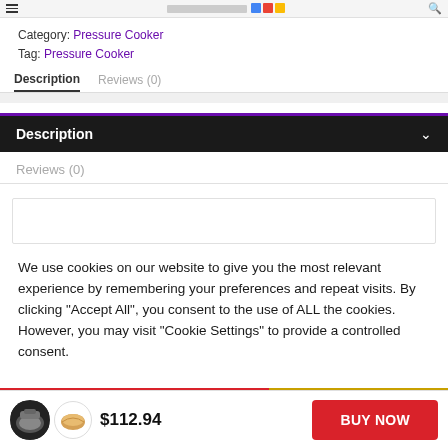Category: Pressure Cooker
Tag: Pressure Cooker
Description   Reviews (0)
Description
Reviews (0)
We use cookies on our website to give you the most relevant experience by remembering your preferences and repeat visits. By clicking "Accept All", you consent to the use of ALL the cookies. However, you may visit "Cookie Settings" to provide a controlled consent.
$112.94   BUY NOW